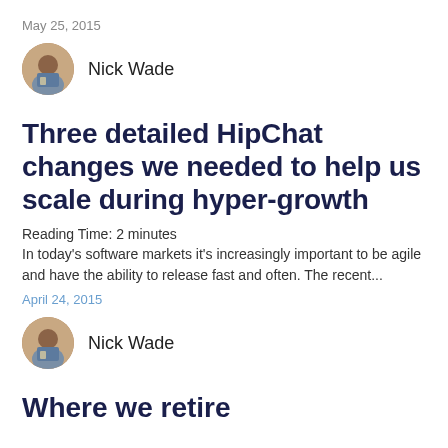May 25, 2015
Nick Wade
Three detailed HipChat changes we needed to help us scale during hyper-growth
Reading Time: 2 minutes
In today's software markets it's increasingly important to be agile and have the ability to release fast and often. The recent...
April 24, 2015
Nick Wade
Where we retire